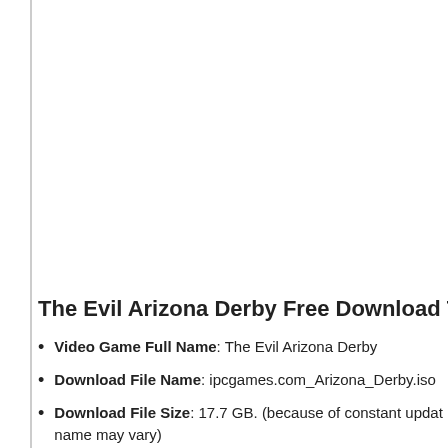The Evil Arizona Derby Free Download Technical S
Video Game Full Name: The Evil Arizona Derby
Download File Name: ipcgames.com_Arizona_Derby.iso
Download File Size: 17.7 GB. (because of constant update name may vary)
Setup Type: Offline Installer / Full Standalone Setup